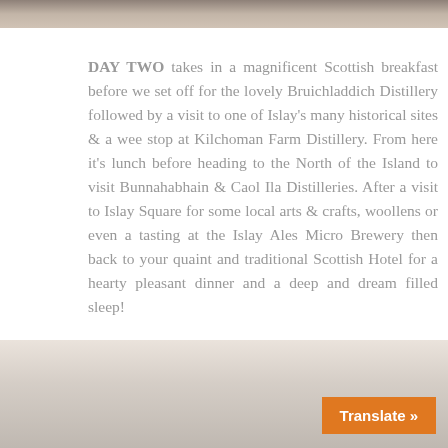[Figure (photo): Top portion of a photo, partially visible at the top of the page, showing a dark blurry scene]
DAY TWO takes in a magnificent Scottish breakfast before we set off for the lovely Bruichladdich Distillery followed by a visit to one of Islay's many historical sites & a wee stop at Kilchoman Farm Distillery. From here it's lunch before heading to the North of the Island to visit Bunnahabhain & Caol Ila Distilleries. After a visit to Islay Square for some local arts & crafts, woollens or even a tasting at the Islay Ales Micro Brewery then back to your quaint and traditional Scottish Hotel for a hearty pleasant dinner and a deep and dream filled sleep!
[Figure (photo): Bottom portion of a photo showing glasses and containers on a table, with an orange 'Translate »' button overlay in the bottom right corner]